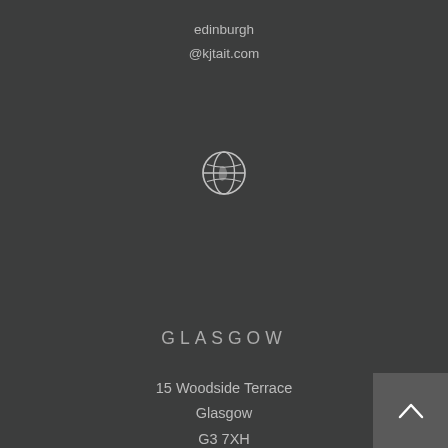edinburgh
@kjtait.com
[Figure (illustration): Globe icon (world map outline in circle)]
GLASGOW
15 Woodside Terrace
Glasgow
G3 7XH
0141 332 9676
glasgow
@kjtait.com
[Figure (illustration): Globe icon (world map outline in circle)]